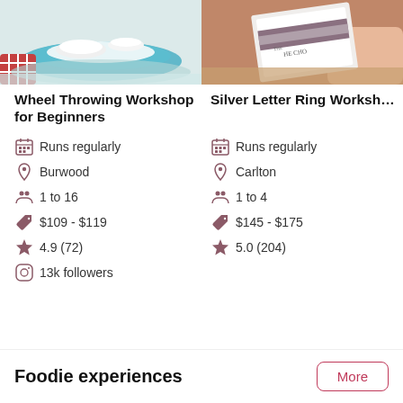[Figure (photo): Pottery wheel with blue ceramic bowls, person in checkered shirt]
[Figure (photo): Hands holding silver ring workshop card/booklet with text 'HE CHO']
Wheel Throwing Workshop for Beginners
Silver Letter Ring Worksh...
Runs regularly
Runs regularly
Burwood
Carlton
1 to 16
1 to 4
$109 - $119
$145 - $175
4.9 (72)
5.0 (204)
13k followers
Foodie experiences
More